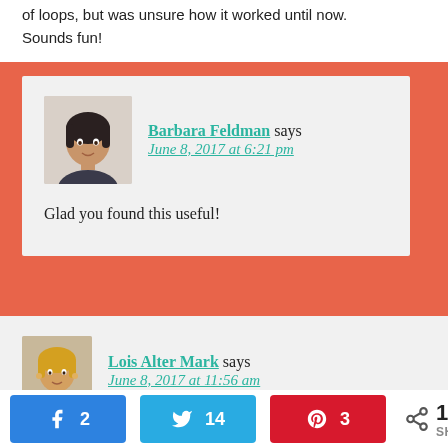of loops, but was unsure how it worked until now. Sounds fun!
Barbara Feldman says June 8, 2017 at 6:21 pm
Glad you found this useful!
Lois Alter Mark says June 8, 2017 at 11:56 am
2  14  3  19 SHARES